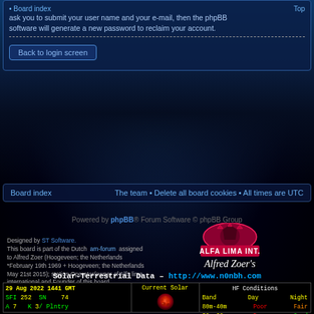ask you to submit your user name and your e-mail, then the phpBB software will generate a new password to reclaim your account.
Board index   Top
Back to login screen
Board index   The team • Delete all board cookies • All times are UTC
Powered by phpBB® Forum Software © phpBB Group
[Figure (logo): ALFA LIMA INT. logo with crown emblem and Alfred Zoer's script text]
Designed by ST Software. This board is part of the Dutch am-forum assigned to Alfred Zoer (Hoogeveen; the Netherlands *February 19th 1969 + Hoogeveen; the Netherlands May 21st 2015); station Operator/owner of Alfa lima international and Founder of this board. We modulate the air as freely as we breathe it. We challenge those, who claims ownership and control of the natural elements of the Earth.*
Solar-Terrestrial Data – http://www.n0nbh.com
| Field | Value |
| --- | --- |
| 29 Aug 2022 1441 GMT | Current Solar |
| SFI 252 SN 74 |  |
| A 7 K 3/ Plntry |  |
| X-Ray C2.5 |  |
| 304A 115.8 @ SEM |  |
| Ptn Flx 1640 |  |
| Elc Flx 7150 |  |
| Aurora 2/n=1.99 |  |
| MUF Boulder NoRpt |  |